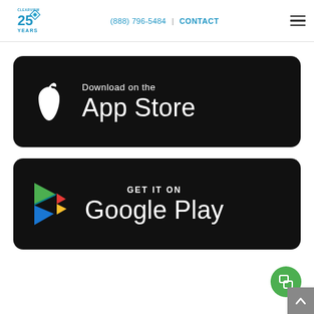Clearview 25 Years | (888) 796-5484 | CONTACT
[Figure (logo): Clearview 25 Years logo with blue and teal colors]
[Figure (screenshot): Download on the App Store badge - black rounded rectangle with Apple logo and text 'Download on the App Store']
[Figure (screenshot): Get it on Google Play badge - black rounded rectangle with Google Play triangle logo and text 'GET IT ON Google Play']